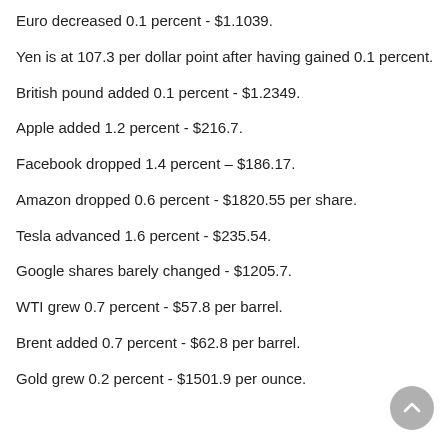Euro decreased 0.1 percent - $1.1039.
Yen is at 107.3 per dollar point after having gained 0.1 percent.
British pound added 0.1 percent - $1.2349.
Apple added 1.2 percent - $216.7.
Facebook dropped 1.4 percent – $186.17.
Amazon dropped 0.6 percent - $1820.55 per share.
Tesla advanced 1.6 percent - $235.54.
Google shares barely changed - $1205.7.
WTI grew 0.7 percent - $57.8 per barrel.
Brent added 0.7 percent - $62.8 per barrel.
Gold grew 0.2 percent - $1501.9 per ounce.